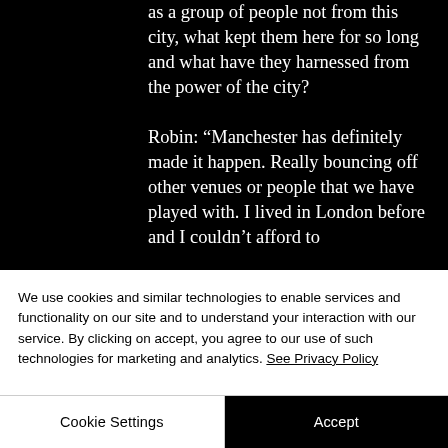as a group of people not from this city, what kept them here for so long and what have they harnessed from the power of the city?

Robin: “Manchester has definitely made it happen. Really bouncing off other venues or people that we have played with. I lived in London before and I couldn’t afford to
We use cookies and similar technologies to enable services and functionality on our site and to understand your interaction with our service. By clicking on accept, you agree to our use of such technologies for marketing and analytics. See Privacy Policy